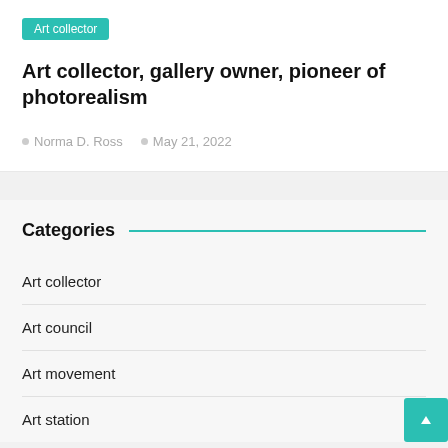Art collector
Art collector, gallery owner, pioneer of photorealism
Norma D. Ross   May 21, 2022
Categories
Art collector
Art council
Art movement
Art station